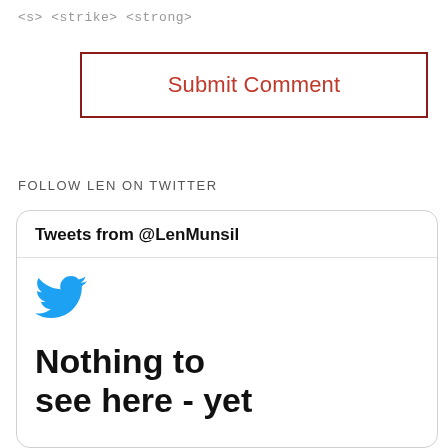<s> <strike> <strong>
Submit Comment
FOLLOW LEN ON TWITTER
[Figure (screenshot): Twitter widget card showing 'Tweets from @LenMunsil' header, Twitter bird logo in blue, and text 'Nothing to see here - yet']